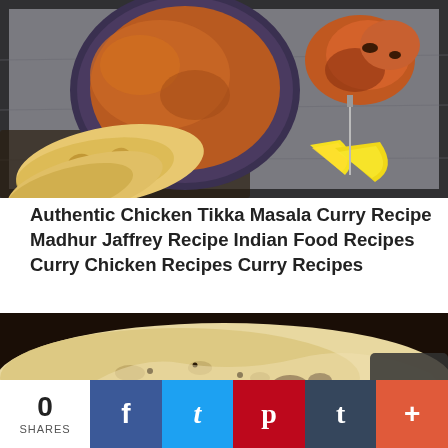[Figure (photo): Overhead view of chicken tikka masala curry in a dark bowl with naan bread and lemon wedges on a slate board]
Authentic Chicken Tikka Masala Curry Recipe Madhur Jaffrey Recipe Indian Food Recipes Curry Chicken Recipes Curry Recipes
[Figure (photo): Close-up of naan bread with herbs and charred spots on dark background]
0 SHARES
f
t
p
t
+